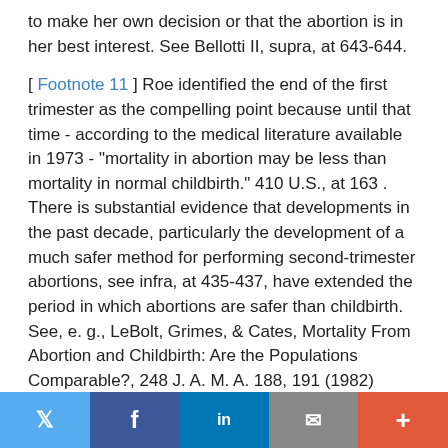to make her own decision or that the abortion is in her best interest. See Bellotti II, supra, at 643-644.
[ Footnote 11 ] Roe identified the end of the first trimester as the compelling point because until that time - according to the medical literature available in 1973 - "mortality in abortion may be less than mortality in normal childbirth." 410 U.S., at 163 . There is substantial evidence that developments in the past decade, particularly the development of a much safer method for performing second-trimester abortions, see infra, at 435-437, have extended the period in which abortions are safer than childbirth. See, e. g., LeBolt, Grimes, & Cates, Mortality From Abortion and Childbirth: Are the Populations Comparable?, 248 J. A. M. A. 188, 191 (1982) (abortion may be safer than childbirth up to gestational ages of 16 weeks).
Twitter | Facebook | LinkedIn | Email | More